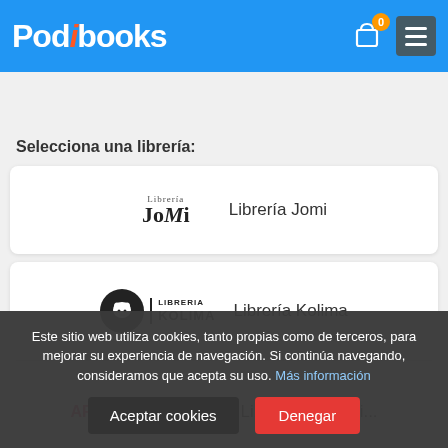[Figure (logo): Podibooks logo with blue background header, cart icon with orange badge showing 0, and hamburger menu button]
Título, Autor o ISBN
Selecciona una librería:
[Figure (logo): Librería Jomi logo]
Librería Jomi
[Figure (logo): Librería Kolima logo - black circle with sheep icon and LIBRERIA KOLIMA text]
Librería Kolima
[Figure (logo): ArtemisionBooks logo in pink/grey/dark blue text]
Librería Artemisi...
Este sitio web utiliza cookies, tanto propias como de terceros, para mejorar su experiencia de navegación. Si continúa navegando, consideramos que acepta su uso. Más información
Aceptar cookies
Denegar